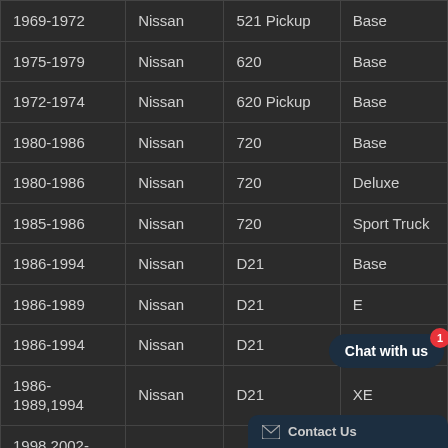| Year | Make | Model | Trim |
| --- | --- | --- | --- |
| 1969-1972 | Nissan | 521 Pickup | Base |
| 1975-1979 | Nissan | 620 | Base |
| 1972-1974 | Nissan | 620 Pickup | Base |
| 1980-1986 | Nissan | 720 | Base |
| 1980-1986 | Nissan | 720 | Deluxe |
| 1985-1986 | Nissan | 720 | Sport Truck |
| 1986-1994 | Nissan | D21 | Base |
| 1986-1989 | Nissan | D21 | E |
| 1986-1994 | Nissan | D21 | SE |
| 1986-1989,1994 | Nissan | D21 | XE |
| 1998,2002-2003 | Nissan | Frontier | Base |
| 2005-2010 | Nissan | Frontier | LE |
| 2005-2008 | Nissan | Frontier | … |
| 2009-2011 | Nissan | Frontier | … |